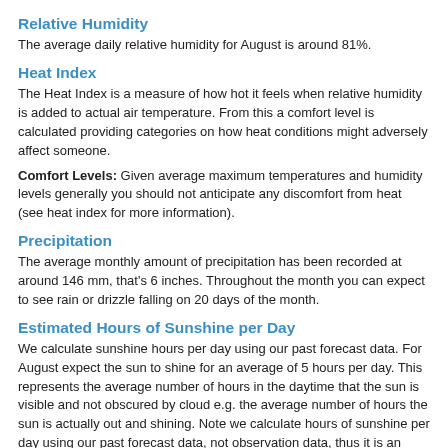Relative Humidity
The average daily relative humidity for August is around 81%.
Heat Index
The Heat Index is a measure of how hot it feels when relative humidity is added to actual air temperature. From this a comfort level is calculated providing categories on how heat conditions might adversely affect someone.
Comfort Levels: Given average maximum temperatures and humidity levels generally you should not anticipate any discomfort from heat (see heat index for more information).
Precipitation
The average monthly amount of precipitation has been recorded at around 146 mm, that's 6 inches. Throughout the month you can expect to see rain or drizzle falling on 20 days of the month.
Estimated Hours of Sunshine per Day
We calculate sunshine hours per day using our past forecast data. For August expect the sun to shine for an average of 5 hours per day. This represents the average number of hours in the daytime that the sun is visible and not obscured by cloud e.g. the average number of hours the sun is actually out and shining. Note we calculate hours of sunshine per day using our past forecast data, not observation data, thus it is an estimate and not actual.
Wind
The average daily wind speed in August has been around 7 km/h, that's the equivalent to about 4 mph, or 4 knots. In recent years the maximum sustained wind speed has reached 33 km/h, that's the equivalent of around 21 mph, or 18 knots.